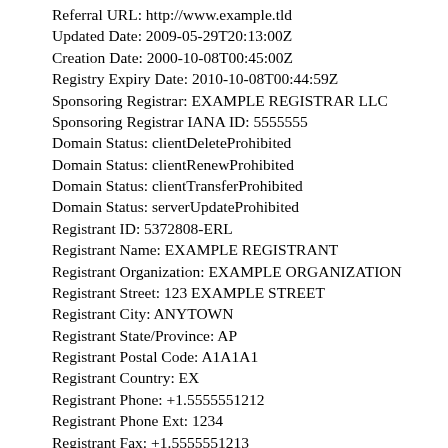Referral URL: http://www.example.tld
Updated Date: 2009-05-29T20:13:00Z
Creation Date: 2000-10-08T00:45:00Z
Registry Expiry Date: 2010-10-08T00:44:59Z
Sponsoring Registrar: EXAMPLE REGISTRAR LLC
Sponsoring Registrar IANA ID: 5555555
Domain Status: clientDeleteProhibited
Domain Status: clientRenewProhibited
Domain Status: clientTransferProhibited
Domain Status: serverUpdateProhibited
Registrant ID: 5372808-ERL
Registrant Name: EXAMPLE REGISTRANT
Registrant Organization: EXAMPLE ORGANIZATION
Registrant Street: 123 EXAMPLE STREET
Registrant City: ANYTOWN
Registrant State/Province: AP
Registrant Postal Code: A1A1A1
Registrant Country: EX
Registrant Phone: +1.5555551212
Registrant Phone Ext: 1234
Registrant Fax: +1.5555551213
Registrant Fax Ext: 4321
Registrant Email: EMAIL@EXAMPLE.TLD